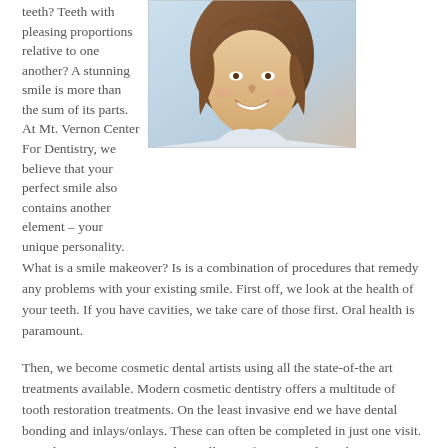teeth? Teeth with pleasing proportions relative to one another? A stunning smile is more than the sum of its parts. At Mt. Vernon Center For Dentistry, we believe that your perfect smile also contains another element – your unique personality.
[Figure (photo): Portrait photo of a smiling woman with long brown hair against a light blue background, showing bright white teeth.]
What is a smile makeover? Is is a combination of procedures that remedy any problems with your existing smile. First off, we look at the health of your teeth. If you have cavities, we take care of those first. Oral health is paramount.
Then, we become cosmetic dental artists using all the state-of-the art treatments available. Modern cosmetic dentistry offers a multitude of tooth restoration treatments. On the least invasive end we have dental bonding and inlays/onlays. These can often be completed in just one visit. Porcelain veneers can remedy small imperfections such as chips. A veneer can also correct the shape of a tooth that is misaligned.